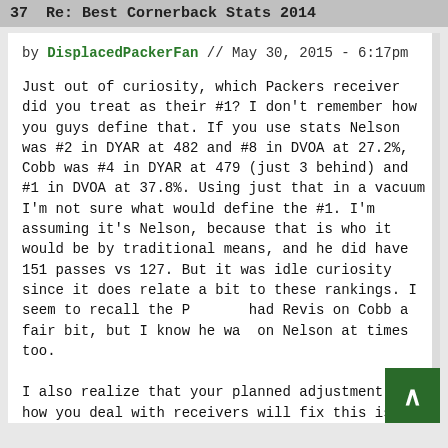37  Re: Best Cornerback Stats 2014
by DisplacedPackerFan // May 30, 2015 - 6:17pm
Just out of curiosity, which Packers receiver did you treat as their #1? I don't remember how you guys define that. If you use stats Nelson was #2 in DYAR at 482 and #8 in DVOA at 27.2%, Cobb was #4 in DYAR at 479 (just 3 behind) and #1 in DVOA at 37.8%. Using just that in a vacuum I'm not sure what would define the #1. I'm assuming it's Nelson, because that is who it would be by traditional means, and he did have 151 passes vs 127. But it was idle curiosity since it does relate a bit to these rankings. I seem to recall the P had Revis on Cobb a fair bit, but I know he was on Nelson at times too.
I also realize that your planned adjustment to how you deal with receivers will fix this issue